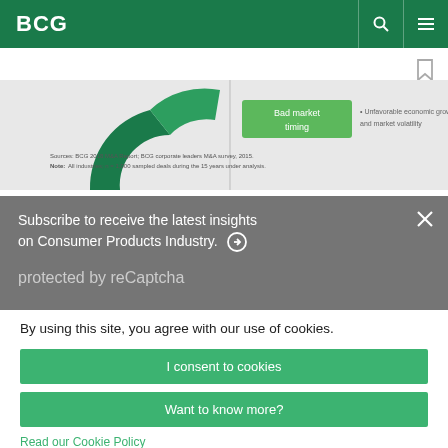BCG
[Figure (screenshot): Partial view of a BCG chart showing a donut/pie chart slice in dark green, a green 'Bad market timing' label box, and text 'Unfavorable economic growth and market volatility'. Sources note: BCG 2018 M&A Report; BCG corporate leaders M&A survey, 2015. Note: All industries; n = 1,000 sampled deals during the 15 years under analysis.]
Subscribe to receive the latest insights on Consumer Products Industry. ➔
protected by reCaptcha
By using this site, you agree with our use of cookies.
I consent to cookies
Want to know more?
Read our Cookie Policy